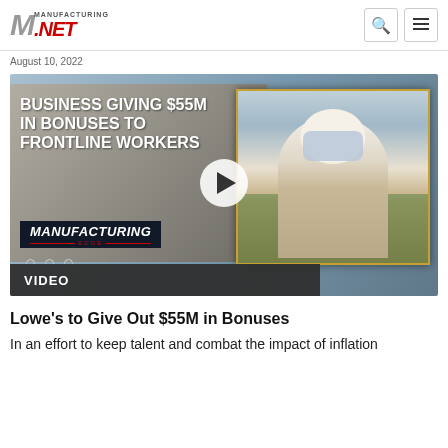Manufacturing.NET
August 10, 2022
[Figure (screenshot): Video thumbnail showing a masked frontline worker with text 'BUSINESS GIVING $55M IN BONUSES TO FRONTLINE WORKERS' and a play button, with Manufacturing logo inside. A VIDEO label bar at the bottom left.]
VIDEO
Lowe's to Give Out $55M in Bonuses
In an effort to keep talent and combat the impact of inflation